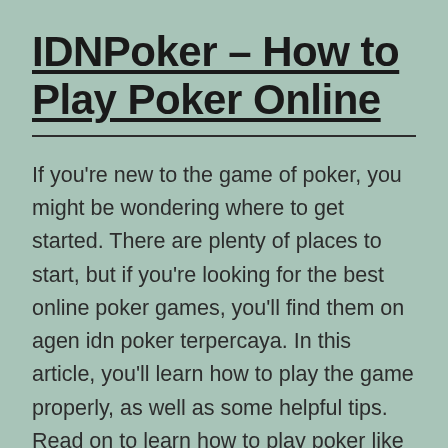IDNPoker – How to Play Poker Online
If you're new to the game of poker, you might be wondering where to get started. There are plenty of places to start, but if you're looking for the best online poker games, you'll find them on agen idn poker terpercaya. In this article, you'll learn how to play the game properly, as well as some helpful tips. Read on to learn how to play poker like a pro.
Before you can play poker for real money, you should be aware of the payout process. Most